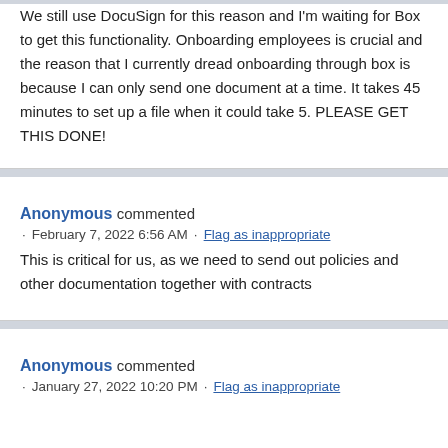We still use DocuSign for this reason and I'm waiting for Box to get this functionality. Onboarding employees is crucial and the reason that I currently dread onboarding through box is because I can only send one document at a time. It takes 45 minutes to set up a file when it could take 5. PLEASE GET THIS DONE!
Anonymous commented · February 7, 2022 6:56 AM · Flag as inappropriate
This is critical for us, as we need to send out policies and other documentation together with contracts
Anonymous commented · January 27, 2022 10:20 PM · Flag as inappropriate